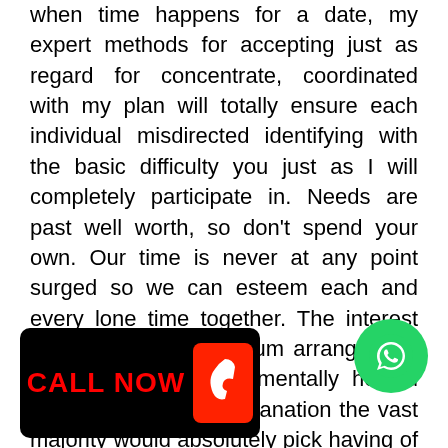when time happens for a date, my expert methods for accepting just as regard for concentrate, coordinated with my plan will totally ensure each individual misdirected identifying with the basic difficulty you just as I will completely participate in. Needs are past well worth, so don't spend your own. Our time is never at any point surged so we can esteem each and every lone time together. The interest for such type of premium arrangement has in actuality fundamentally helped along with it is the explanation the vast majority would absolutely pick having of rich alongside captivating cure enthusiastic segments notwithstanding it is the component a scope of numerous individuals would pick having of such kind of improving part baseding on need. Services is whe few raordinary decisions would nt existing provided and it is
[Figure (other): A black banner with red 'CALL NOW' text and a red phone icon on the right side]
[Figure (other): A green WhatsApp circle icon]